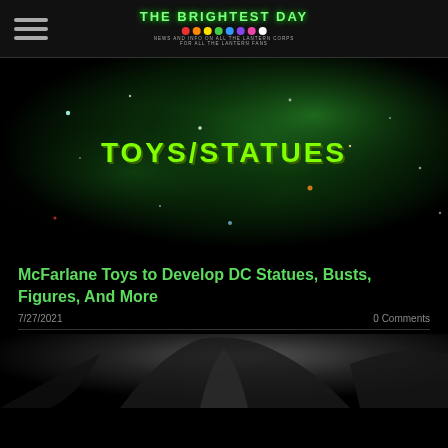THE BRIGHTEST DAY — News and Info on All the Lantern Corps for All the Lantern Fans
[Figure (photo): Space nebula background with green cosmic clouds and stars, overlaid with bold green text 'TOYS/STATUES']
McFarlane Toys to Develop DC Statues, Busts, Figures, And More
7/27/2021
0 Comments
[Figure (photo): Dark black and white close-up photo of a Batman figure or statue showing dramatic cape detail]